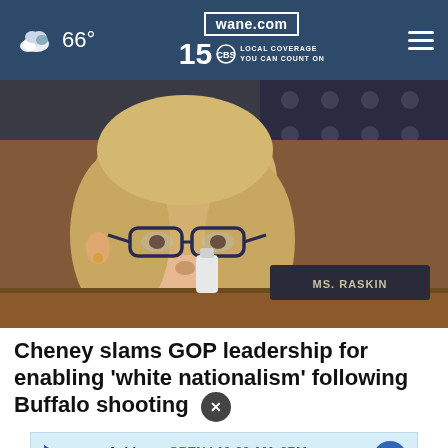wane.com 15 LOCAL COVERAGE YOU CAN COUNT ON — 66°
[Figure (photo): A blonde woman with glasses seated at a congressional hearing desk, serious expression, with a name placard and American flags in the background]
Cheney slams GOP leadership for enabling 'white nationalism' following Buffalo shooting
Ashburn OPEN 10:30AM–9PM 44155 Ashbrook Marketplace, ...